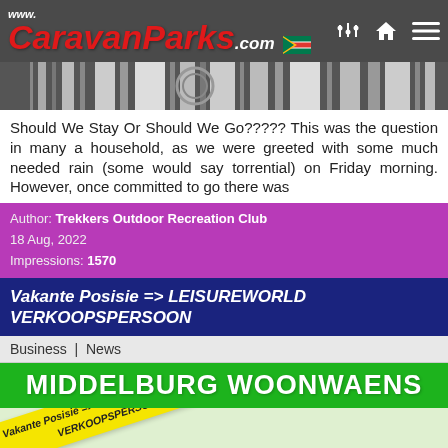www.CaravanParks.com
[Figure (photo): Partial view of a photo strip, dark monochrome image with barcode-like patterns]
Should We Stay Or Should We Go????? This was the question in many a household, as we were greeted with some much needed rain (some would say torrential) on Friday morning. However, once committed to go there was
Author: Trekkers Outdoor Recreation Club
18 Aug, 2022
Impressions: 1570
Vakante Posisie => LEISUREWORLD VERKOOPSPERSOON
Business | News
[Figure (illustration): Green banner reading MIDDELBURG WOONWAENS with a flyer below showing Vakante Posisie => LEISUREWORLD VERKOOPSPERSOON in yellow rotated text, and Vereistes: Ouderdom (30 tot 45 jaar), ervinding (3 – 5 jaar)]